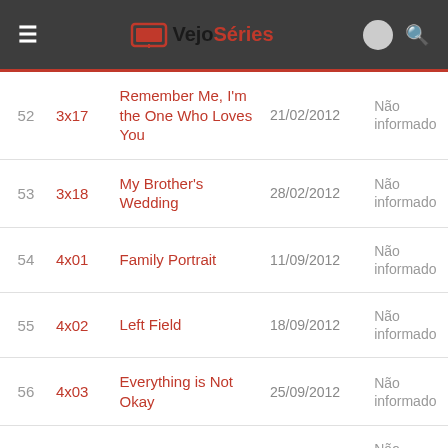VejoSéries
| # | Ep | Título | Data | Status |
| --- | --- | --- | --- | --- |
| 52 | 3x17 | Remember Me, I'm the One Who Loves You | 21/02/2012 | Não informado |
| 53 | 3x18 | My Brother's Wedding | 28/02/2012 | Não informado |
| 54 | 4x01 | Family Portrait | 11/09/2012 | Não informado |
| 55 | 4x02 | Left Field | 18/09/2012 | Não informado |
| 56 | 4x03 | Everything is Not Okay | 25/09/2012 | Não informado |
| 57 | 4x04 | The Talk | 02/10/2012 | Não informado |
|  |  | There's |  |  |